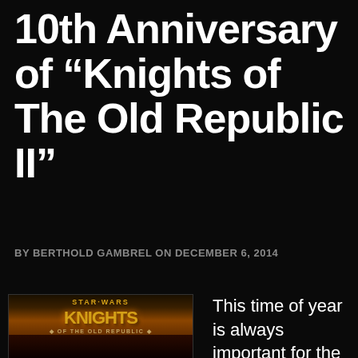10th Anniversary of “Knights of The Old Republic II”
BY BERTHOLD GAMBREL ON DECEMBER 6, 2014
[Figure (photo): Star Wars Knights of the Old Republic II game cover art showing the title logo in gold on a dark background with a robed figure below]
This time of year is always important for the